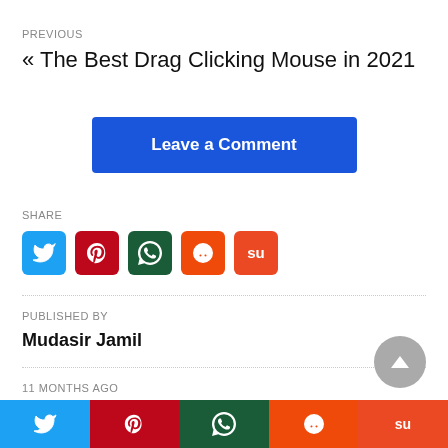PREVIOUS
« The Best Drag Clicking Mouse in 2021
Leave a Comment
SHARE
[Figure (infographic): Social share icons: Twitter (blue), Pinterest (red), WhatsApp (dark green), Reddit (orange), Stumbleupon (orange-red)]
PUBLISHED BY
Mudasir Jamil
11 MONTHS AGO
[Figure (infographic): Bottom bar with social share icons: Twitter, Pinterest, WhatsApp, Reddit, Stumbleupon]